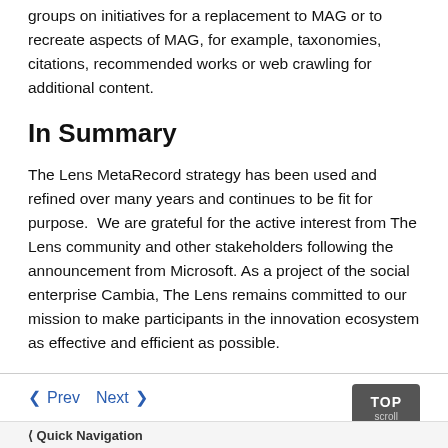groups on initiatives for a replacement to MAG or to recreate aspects of MAG, for example, taxonomies, citations, recommended works or web crawling for additional content.
In Summary
The Lens MetaRecord strategy has been used and refined over many years and continues to be fit for purpose. We are grateful for the active interest from The Lens community and other stakeholders following the announcement from Microsoft. As a project of the social enterprise Cambia, The Lens remains committed to our mission to make participants in the innovation ecosystem as effective and efficient as possible.
‹ Prev   Next ›   TOP